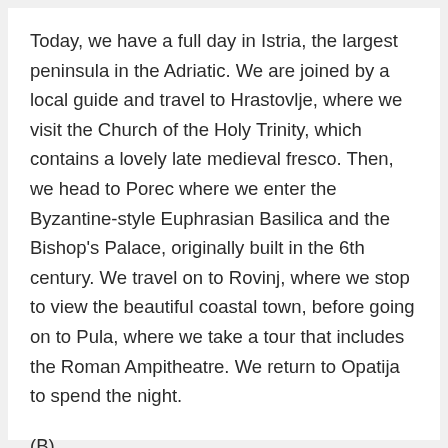Today, we have a full day in Istria, the largest peninsula in the Adriatic. We are joined by a local guide and travel to Hrastovlje, where we visit the Church of the Holy Trinity, which contains a lovely late medieval fresco. Then, we head to Porec where we enter the Byzantine-style Euphrasian Basilica and the Bishop's Palace, originally built in the 6th century. We travel on to Rovinj, where we stop to view the beautiful coastal town, before going on to Pula, where we take a tour that includes the Roman Ampitheatre. We return to Opatija to spend the night.
(B)